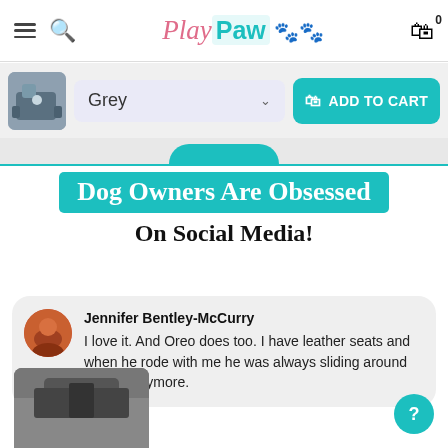PlayPaw — navigation bar with logo, search, and cart
[Figure (screenshot): Product color selector showing 'Grey' dropdown and ADD TO CART button in teal]
Dog Owners Are Obsessed On Social Media!
Jennifer Bentley-McCurry
I love it. And Oreo does too. I have leather seats and when he rode with me he was always sliding around but not anymore.
[Figure (photo): Partial photo of car seat with dog product visible at bottom of page]